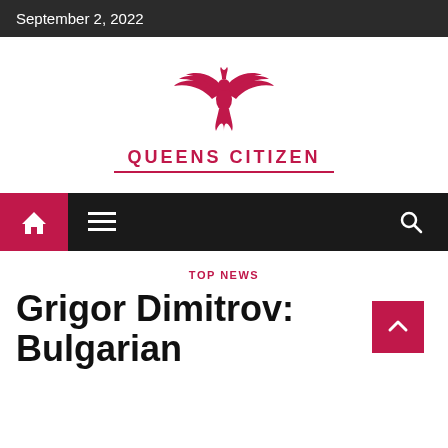September 2, 2022
[Figure (logo): Queens Citizen phoenix bird logo with text QUEENS CITIZEN in red and a red underline]
[Figure (other): Navigation bar with red home icon button, hamburger menu icon, and search icon on dark background]
TOP NEWS
Grigor Dimitrov: Bulgarian